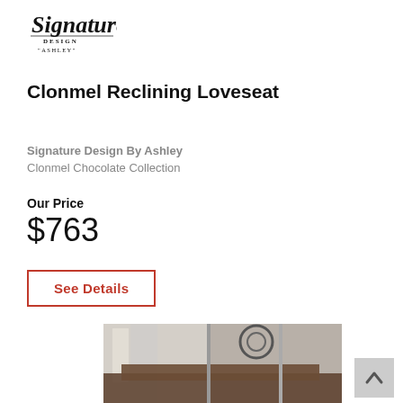[Figure (logo): Signature Design by Ashley cursive logo with script text and DESIGN BY ASHLEY in smaller print]
Clonmel Reclining Loveseat
Signature Design By Ashley
Clonmel Chocolate Collection
Our Price
$763
See Details
[Figure (photo): Partial photo of a reclining loveseat in a living room setting, showing furniture and room decor]